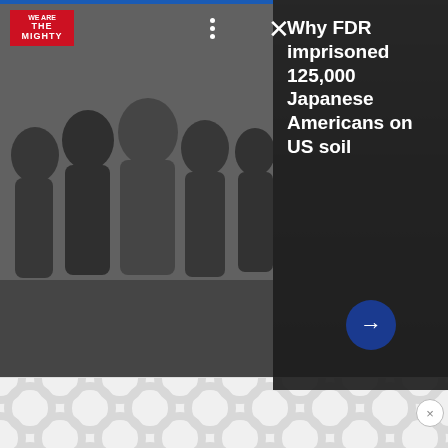[Figure (screenshot): Screenshot of a mobile web overlay card showing a black and white historical photo of Japanese American children with a promotional headline 'Why FDR imprisoned 125,000 Japanese Americans on US soil' from We Are The Mighty website, with close button and navigation arrow]
from the south. Mitchell, the squadron commander, gave the plan 1,000-to-1 odds of success.
They left Henderson Field early on April 18, 1943 — the first anniversary of the Doolittle Raid. The monotony of the long flight combined with the low
[Figure (other): Advertisement banner with decorative circular pattern overlay at bottom of page]